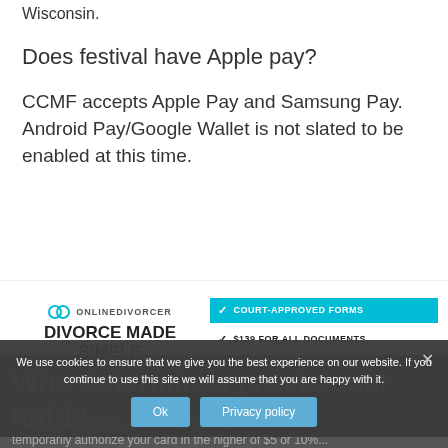Wisconsin.
Does festival have Apple pay?
CCMF accepts Apple Pay and Samsung Pay. Android Pay/Google Wallet is not slated to be enabled at this time.
[Figure (infographic): Online Divorcer advertisement banner. Left side shows logo with text 'ONLINEDIVORCER', heading 'DIVORCE MADE SIMPLE', and a cyan 'GET STARTED' button. Right side shows four checkmark items: 'COURT-APPROVED FORMS' (highlighted cyan), '$139 FOR ALL DOCUMENTS', 'FILING INSTRUCTIONS' (highlighted cyan), '24/7 CUSTOMER SUPPORT'.]
Who determines provisional hold?
The provisional hold amount institution as will temporarily authorize your card in the higher of $5 or 10%...
We use cookies to ensure that we give you the best experience on our website. If you continue to use this site we will assume that you are happy with it.